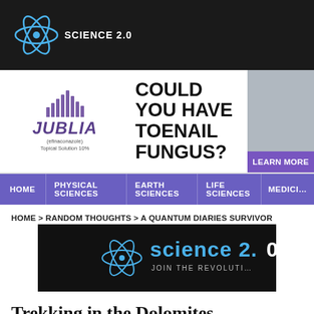SCIENCE 2.0
[Figure (screenshot): Jublia advertisement banner: COULD YOU HAVE TOENAIL FUNGUS? LEARN MORE]
HOME | PHYSICAL SCIENCES | EARTH SCIENCES | LIFE SCIENCES | MEDICINE
HOME > RANDOM THOUGHTS > A QUANTUM DIARIES SURVIVOR
[Figure (logo): Science 2.0 logo with atom graphic and text 'science 2.0 JOIN THE REVOLUTION' on black background]
Trekking in the Dolomites
By Tommaso Dorigo | July 29th 2013 08:31 AM | Print | E-mail
[Figure (screenshot): Social share bar with Share, Share/Save, and Tweet buttons]